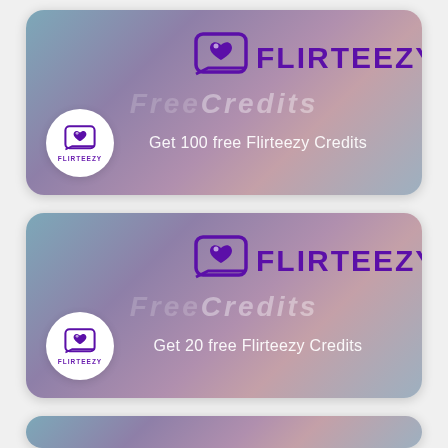[Figure (infographic): Flirteezy Free Credits card 1 - Get 100 free Flirteezy Credits promotional banner with gradient background, Flirteezy logo, and circular icon]
Get 100 free Flirteezy Credits
[Figure (infographic): Flirteezy Free Credits card 2 - Get 20 free Flirteezy Credits promotional banner with gradient background, Flirteezy logo, and circular icon]
Get 20 free Flirteezy Credits